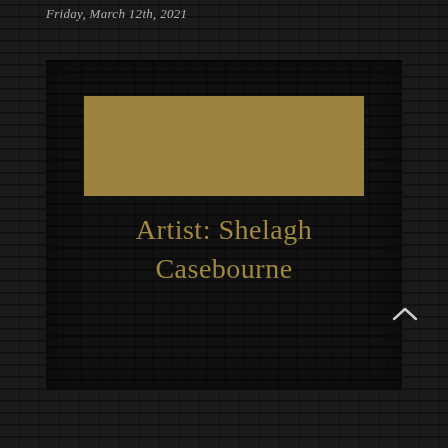Friday, March 12th, 2021
[Figure (illustration): Dark brick/wood textured background with a centered dark panel containing a gold horizontal bar and artist name text]
Artist: Shelagh Casebourne